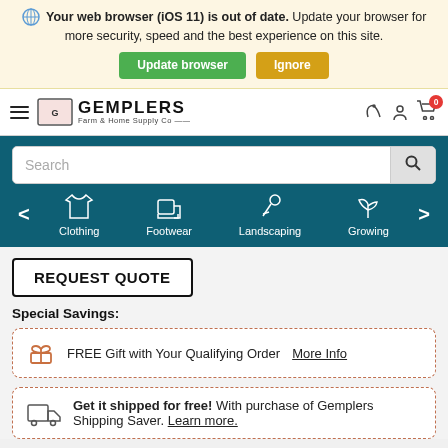Your web browser (iOS 11) is out of date. Update your browser for more security, speed and the best experience on this site.
Update browser | Ignore
[Figure (screenshot): Gemplers Farm & Home Supply Co navigation bar with hamburger menu, logo, phone, user, and cart icons]
Search
[Figure (infographic): Category navigation with Clothing, Footwear, Landscaping, Growing icons on teal background with left/right arrows]
REQUEST QUOTE
Special Savings:
FREE Gift with Your Qualifying Order More Info
Get it shipped for free! With purchase of Gemplers Shipping Saver. Learn more.